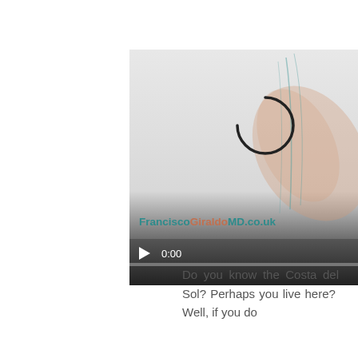[Figure (screenshot): Embedded video player showing FranciscoGiraldoMD.co.uk logo with decorative feather/swirl graphic and a loading spinner circle. Controls bar shows play button and time 0:00.]
Do you know the Costa del Sol? Perhaps you live here? Well, if you do